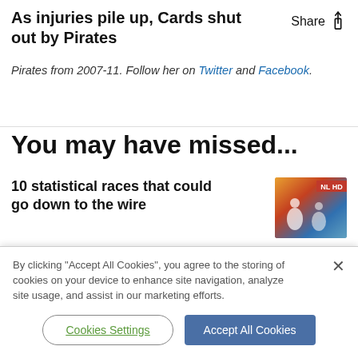As injuries pile up, Cards shut out by Pirates
Pirates from 2007-11. Follow her on Twitter and Facebook.
You may have missed...
10 statistical races that could go down to the wire
[Figure (photo): Baseball players thumbnail image with NL HD label]
By clicking "Accept All Cookies", you agree to the storing of cookies on your device to enhance site navigation, analyze site usage, and assist in our marketing efforts.